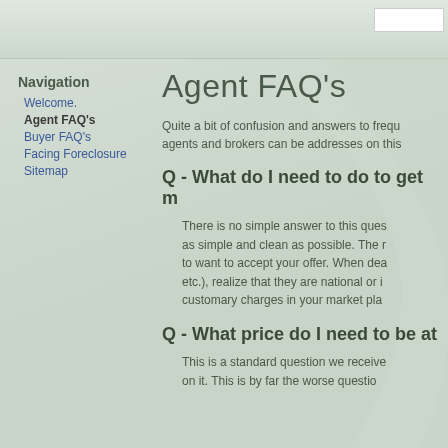Navigation
Welcome.
Agent FAQ's
Buyer FAQ's
Facing Foreclosure
Sitemap
Agent FAQ's
Quite a bit of confusion and answers to frequ agents and brokers can be addresses on this
Q - What do I need to do to get m
There is no simple answer to this ques as simple and clean as possible. The r to want to accept your offer. When dea etc.), realize that they are national or i customary charges in your market pla
Q - What price do I need to be at
This is a standard question we receive on it. This is by far the worse questio